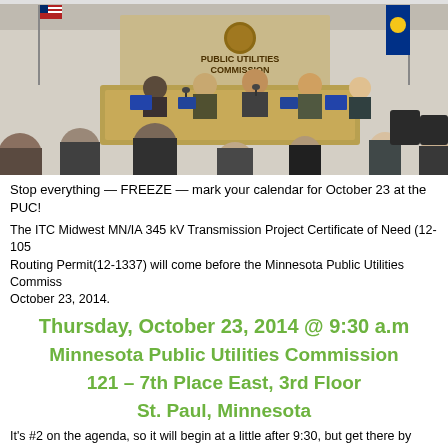[Figure (photo): Photo of a public utilities commission hearing room with commissioners seated at a raised bench, audience members in the foreground, an American flag and Minnesota state flag visible, and a 'Public Utilities Commission' sign on the wall behind the bench.]
Stop everything — FREEZE — mark your calendar for October 23 at the PUC!
The ITC Midwest MN/IA 345 kV Transmission Project Certificate of Need (12-1053) and Routing Permit(12-1337) will come before the Minnesota Public Utilities Commission on October 23, 2014.
Thursday, October 23, 2014 @ 9:30 a.m.
Minnesota Public Utilities Commission
121 – 7th Place East, 3rd Floor
St. Paul, Minnesota
It's #2 on the agenda, so it will begin at a little after 9:30, but get there by 9:30 because things sometimes go FAST!
2.    Details 2014-292
a. TRANSMISSION 12-1053    ITC Midwest MN/IA 3...